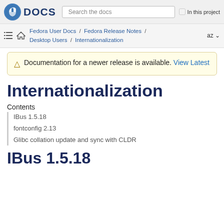Fedora DOCS | Search the docs | In this project
Fedora User Docs / Fedora Release Notes / Desktop Users / Internationalization   az
Documentation for a newer release is available. View Latest
Internationalization
Contents
IBus 1.5.18
fontconfig 2.13
Glibc collation update and sync with CLDR
IBus 1.5.18